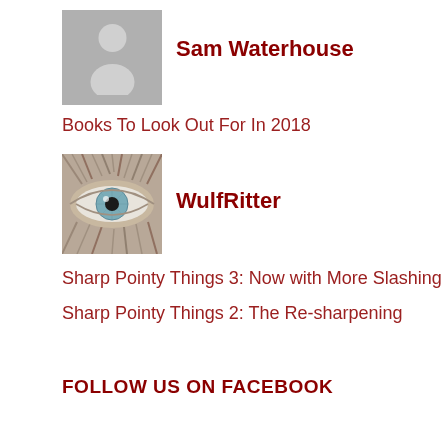[Figure (illustration): Gray placeholder avatar icon (person silhouette) on gray background]
Sam Waterhouse
Books To Look Out For In 2018
[Figure (photo): Close-up photo of a pale blue eye with gray and white fur/hair around it]
WulfRitter
Sharp Pointy Things 3: Now with More Slashing
Sharp Pointy Things 2: The Re-sharpening
FOLLOW US ON FACEBOOK
FOLLOW US ON TWITTER